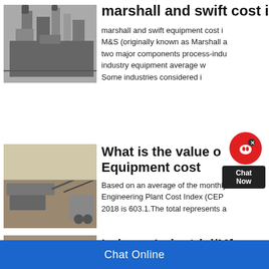marshall and swift cost
[Figure (photo): Industrial factory or processing plant with towers and equipment]
marshall and swift equipment cost i... M&S (originally known as Marshall a... two major components process-indu... industry equipment average w... Some industries considered i...
[Figure (photo): Quarry or open-pit mining operation with heavy machinery]
What is the value o... Equipment cost
Based on an average of the monthly... Engineering Plant Cost Index (CEP... 2018 is 603.1.The total represents a...
[Figure (photo): Mining or construction equipment, possibly a conveyor or excavator]
Indexes Industrial/Mfg e
Chat Online